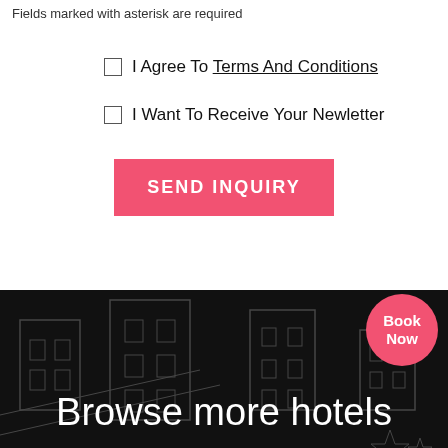Fields marked with asterisk are required
I Agree To Terms And Conditions
I Want To Receive Your Newletter
SEND INQUIRY
[Figure (screenshot): Dark hotel booking banner with outline hotel illustration in background, pink 'Book Now' circle badge top right, white text 'Browse more hotels' at bottom]